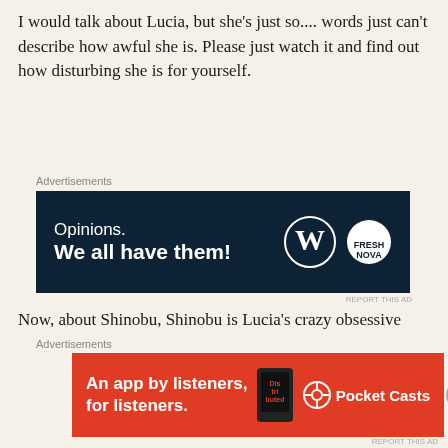I would talk about Lucia, but she's just so.... words just can't describe how awful she is. Please just watch it and find out how disturbing she is for yourself.
[Figure (screenshot): Advertisement banner with dark navy background. Text reads 'Opinions. We all have them!' with WordPress and Fresh Nova logos on the right.]
Now, about Shinobu, Shinobu is Lucia's crazy obsessive butler who Lucia clearly doesn't appreciate. First of all, I think the white wig was a bit too much. How terrible do you want him to look, I don't care if this is just a live-action created directly based from the manga, that was just ridiculous and completely ruined the seriousness of all his crucial scenes. Plus,
[Figure (screenshot): Advertisement banner with red background. Text reads 'An app by listeners, for listeners.' with Pocket Casts logo and phone image.]